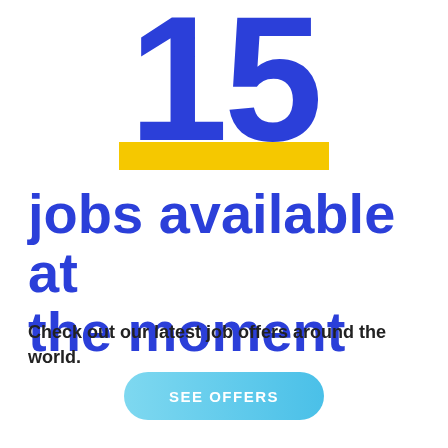15
jobs available at the moment
Check out our latest job offers around the world.
SEE OFFERS